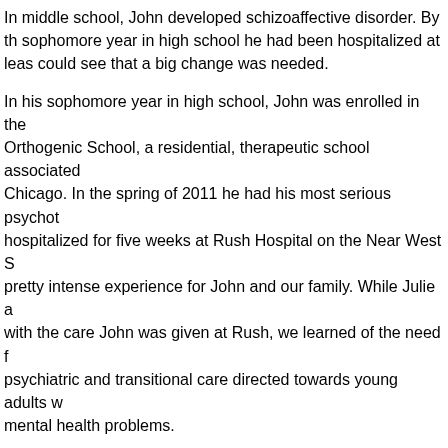In middle school, John developed schizoaffective disorder. By the sophomore year in high school he had been hospitalized at least could see that a big change was needed.
In his sophomore year in high school, John was enrolled in the Orthogenic School, a residential, therapeutic school associated Chicago. In the spring of 2011 he had his most serious psychot hospitalized for five weeks at Rush Hospital on the Near West S pretty intense experience for John and our family. While Julie a with the care John was given at Rush, we learned of the need f psychiatric and transitional care directed towards young adults w mental health problems.
After John was released and back at the “O” School, we founde Tracy Family Foundation and Urban Autism Solutions to help ac young adults with autism. Learning that the vast majority of this with their parents and often don’t hold jobs and/or have meanin home, we set out to work with Rush University Medical Center t Assessment Research and Treatment Service Center (AARTS)